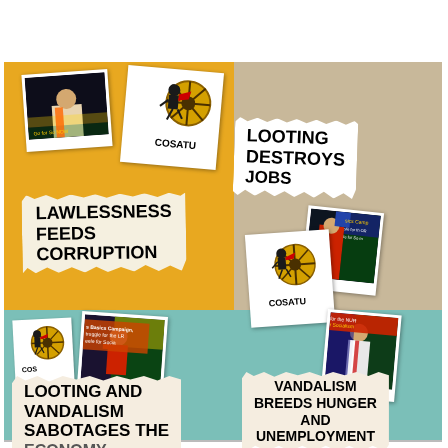[Figure (infographic): COSATU protest infographic with polaroid-style photos and torn paper slogans on colored backgrounds. Top-left (yellow): LAWLESSNESS FEEDS CORRUPTION. Top-right (tan): LOOTING DESTROYS JOBS. Bottom-left (teal): LOOTING AND VANDALISM SABOTAGES THE ECONOMY. Bottom-right (teal): VANDALISM BREEDS HUNGER AND UNEMPLOYMENT. Multiple COSATU logos and protest photos visible.]